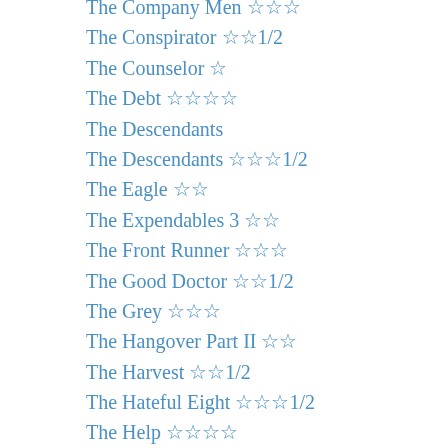The Company Men ☆☆☆
The Conspirator ☆☆1/2
The Counselor ☆
The Debt ☆☆☆☆
The Descendants
The Descendants ☆☆☆1/2
The Eagle ☆☆
The Expendables 3 ☆☆
The Front Runner ☆☆☆
The Good Doctor ☆☆1/2
The Grey ☆☆☆
The Hangover Part II ☆☆
The Harvest ☆☆1/2
The Hateful Eight ☆☆☆1/2
The Help ☆☆☆☆
The Hunger Games ☆☆☆
The Ides of March ☆☆1/2
The Last Stand ☆1/2
The Last Word ☆☆1/2
The Nice Guys ☆☆☆